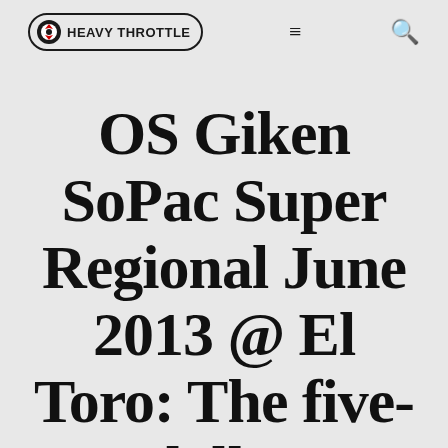HEAVY THROTTLE [navigation menu] [search]
OS Giken SoPac Super Regional June 2013 @ El Toro: The five-dollar heartbreak